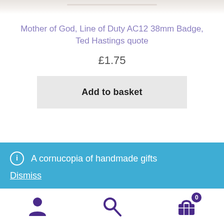[Figure (photo): Top portion of a product image, showing a marble or stone textured surface with light grey and white tones.]
Mother of God, Line of Duty AC12 38mm Badge, Ted Hastings quote
£1.75
Add to basket
ℹ A cornucopia of handmade gifts
Dismiss
Navigation bar with user icon, search icon, and basket icon with count 0